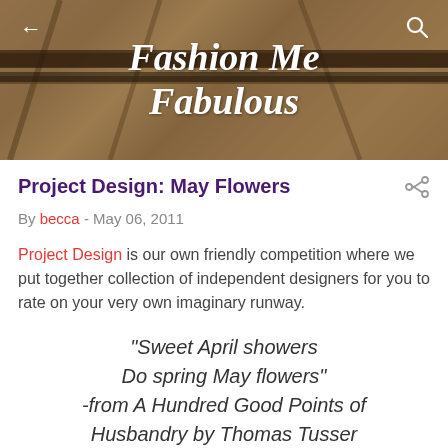[Figure (photo): Header banner with brownish background photo of a bridge or industrial structure. White script text reads 'Fashion Me Fabulous' centered. Back arrow on top left, search icon on top right.]
Project Design: May Flowers
By becca - May 06, 2011
Project Design is our own friendly competition where we put together collection of independent designers for you to rate on your very own imaginary runway.
"Sweet April showers Do spring May flowers" -from A Hundred Good Points of Husbandry by Thomas Tusser